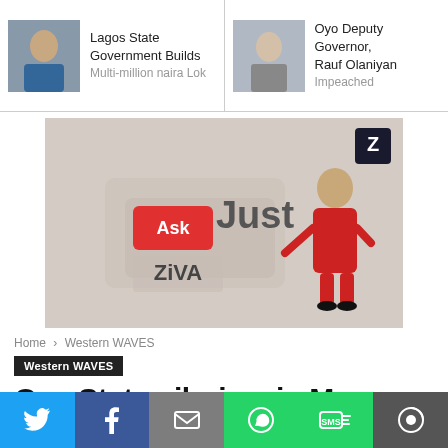Lagos State Government Builds Multi-million naira Lok | Oyo Deputy Governor, Rauf Olaniyan Impeached
[Figure (infographic): Advertisement banner for 'Just Ask ZiVA' featuring an animated woman in red suit pointing to speech bubbles with text 'Ask ZiVA' and 'Just' along with Z logo]
Home › Western WAVES
Western WAVES
Oyo State pilgrims in Mecca not shortchanged of BTA-
[Figure (infographic): Social sharing bar with Twitter, Facebook, Email, WhatsApp, SMS, and other share buttons]